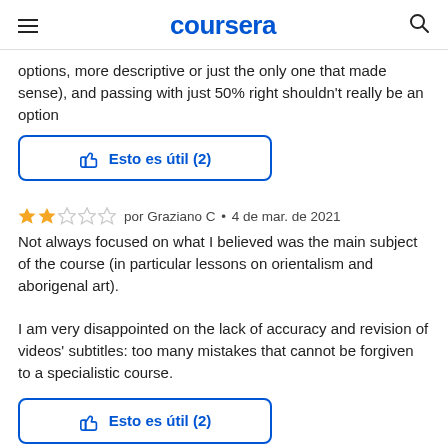coursera
options, more descriptive or just the only one that made sense), and passing with just 50% right shouldn't really be an option
[Figure (other): Button: thumbs up icon with text 'Esto es útil (2)']
★★☆☆☆ por Graziano C • 4 de mar. de 2021
Not always focused on what I believed was the main subject of the course (in particular lessons on orientalism and aborigenal art).

I am very disappointed on the lack of accuracy and revision of videos' subtitles: too many mistakes that cannot be forgiven to a specialistic course.
[Figure (other): Button: thumbs up icon with text 'Esto es útil (2)']